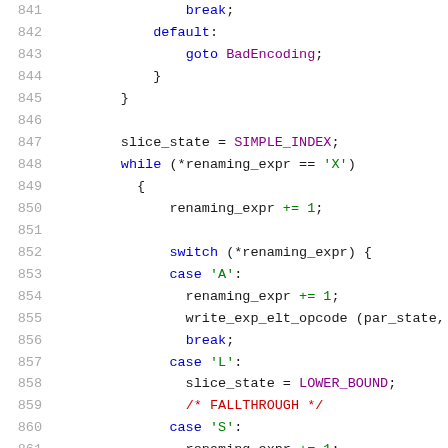[Figure (screenshot): Source code listing (C) showing lines 841-862, a switch/case block with slice_state, while loop, and nested switch on renaming_expr with cases A, L, S]